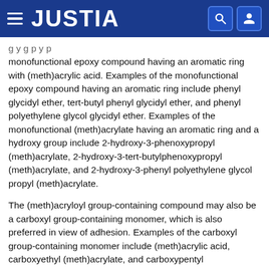JUSTIA
g y g p y p monofunctional epoxy compound having an aromatic ring with (meth)acrylic acid. Examples of the monofunctional epoxy compound having an aromatic ring include phenyl glycidyl ether, tert-butyl phenyl glycidyl ether, and phenyl polyethylene glycol glycidyl ether. Examples of the monofunctional (meth)acrylate having an aromatic ring and a hydroxy group include 2-hydroxy-3-phenoxypropyl (meth)acrylate, 2-hydroxy-3-tert-butylphenoxypropyl (meth)acrylate, and 2-hydroxy-3-phenyl polyethylene glycol propyl (meth)acrylate.
The (meth)acryloyl group-containing compound may also be a carboxyl group-containing monomer, which is also preferred in view of adhesion. Examples of the carboxyl group-containing monomer include (meth)acrylic acid, carboxyethyl (meth)acrylate, and carboxypentyl (meth)acrylate. In particular, acrylic acid is